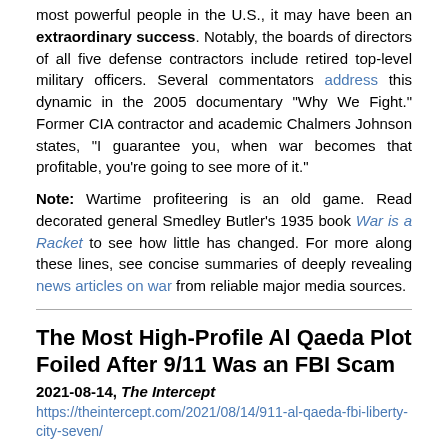most powerful people in the U.S., it may have been an extraordinary success. Notably, the boards of directors of all five defense contractors include retired top-level military officers. Several commentators address this dynamic in the 2005 documentary "Why We Fight." Former CIA contractor and academic Chalmers Johnson states, "I guarantee you, when war becomes that profitable, you're going to see more of it."
Note: Wartime profiteering is an old game. Read decorated general Smedley Butler's 1935 book War is a Racket to see how little has changed. For more along these lines, see concise summaries of deeply revealing news articles on war from reliable major media sources.
The Most High-Profile Al Qaeda Plot Foiled After 9/11 Was an FBI Scam
2021-08-14, The Intercept
https://theintercept.com/2021/08/14/911-al-qaeda-fbi-liberty-city-seven/
The biggest Al Qaeda plot the FBI claimed to have foiled in the